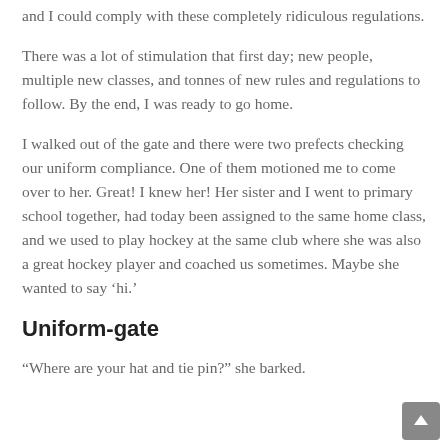and I could comply with these completely ridiculous regulations.
There was a lot of stimulation that first day; new people, multiple new classes, and tonnes of new rules and regulations to follow.  By the end, I was ready to go home.
I walked out of the gate and there were two prefects checking our uniform compliance.  One of them motioned me to come over to her.  Great!  I knew her!  Her sister and I went to primary school together, had today been assigned to the same home class, and we used to play hockey at the same club where she was also a great hockey player and coached us sometimes.  Maybe she wanted to say ‘hi.’
Uniform-gate
“Where are your hat and tie pin?” she barked.